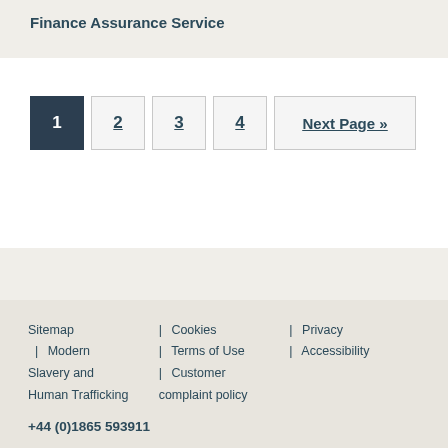Finance Assurance Service
1 2 3 4 Next Page »
Sitemap | Cookies | Privacy | Modern | Terms of Use | Accessibility Slavery and | Customer Human Trafficking complaint policy +44 (0)1865 593911